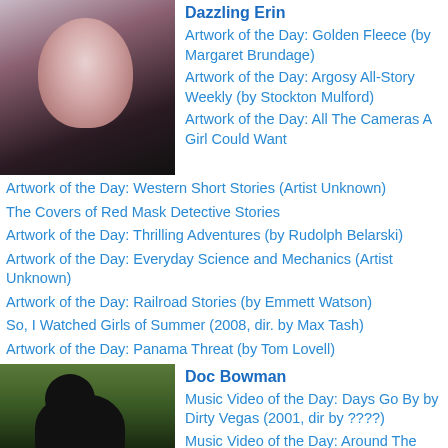[Figure (photo): Portrait photo of a young woman with pale skin, dark hair pulled back, wearing a light purple top, looking slightly downward.]
Dazzling Erin
Artwork of the Day: Golden Fleece (by Margaret Brundage)
Artwork of the Day: Argosy All-Story Weekly (by Stockton Mulford)
Artwork of the Day: All The Cameras A Girl Could Want
Artwork of the Day: Western Short Stories (Artist Unknown)
The Covers of Red Mask Detective Stories
Artwork of the Day: Thrilling Adventures (by Rudolph Belarski)
Artwork of the Day: Everyday Science and Mechanics (Artist Unknown)
Artwork of the Day: Railroad Stories (by Emmett Watson)
So, I Watched Girls of Summer (2008, dir. by Max Tash)
Artwork of the Day: Panama Threat (by Tom Lovell)
[Figure (photo): Photo of a black cat outdoors on grass, facing the camera with glowing eyes.]
Doc Bowman
Music Video of the Day: Days Go By by Dirty Vegas (2001, dir by ????)
Music Video of the Day: Around The World by